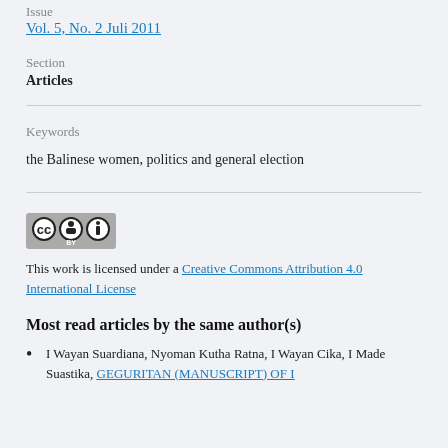Issue
Vol. 5, No. 2 Juli 2011
Section
Articles
Keywords
the Balinese women, politics and general election
[Figure (logo): Creative Commons Attribution (CC BY) license badge]
This work is licensed under a Creative Commons Attribution 4.0 International License
Most read articles by the same author(s)
I Wayan Suardiana, Nyoman Kutha Ratna, I Wayan Cika, I Made Suastika, GEGURITAN (MANUSCRIPT) OF I